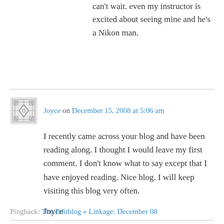can't wait. even my instructor is excited about seeing mine and he's a Nikon man.
Joyce on December 15, 2008 at 5:06 am
I recently came across your blog and have been reading along. I thought I would leave my first comment. I don't know what to say except that I have enjoyed reading. Nice blog. I will keep visiting this blog very often.

Joyce

http://www.shunmigraine.com
Pingback: The Editblog » Linkage: December 08